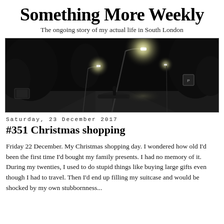Something More Weekly
The ongoing story of my actual life in South London
[Figure (photo): Black and white night photograph of a South London street with street lamps glowing, trees on the sides, and a road sign visible on the right.]
Saturday, 23 December 2017
#351 Christmas shopping
Friday 22 December. My Christmas shopping day. I wondered how old I'd been the first time I'd bought my family presents. I had no memory of it. During my twenties, I used to do stupid things like buying large gifts even though I had to travel. Then I'd end up filling my suitcase and would be shocked by my own stubbornness...